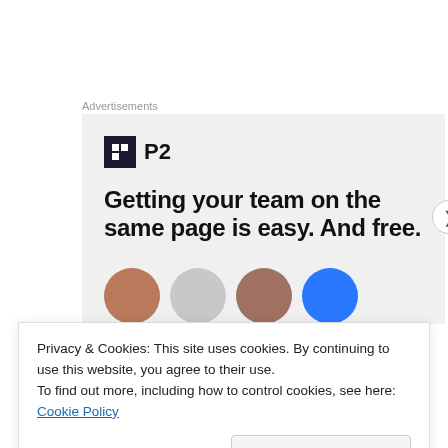Advertisements
[Figure (illustration): P2 advertisement banner with logo (dark square with P2 text), headline 'Getting your team on the same page is easy. And free.' and partial row of user avatars at bottom]
Privacy & Cookies: This site uses cookies. By continuing to use this website, you agree to their use.
To find out more, including how to control cookies, see here: Cookie Policy
Close and accept